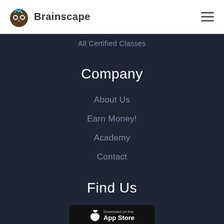Brainscape
All Certified Classes
Company
About Us
Earn Money!
Academy
Contact
Find Us
[Figure (screenshot): Download on the App Store button]